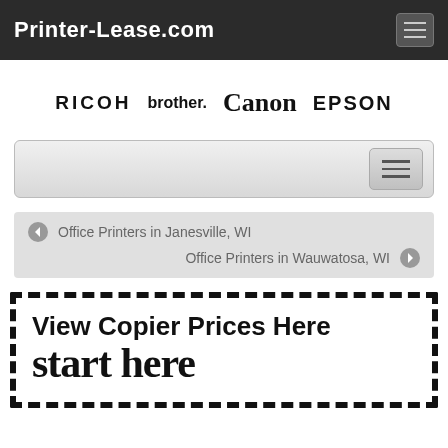Printer-Lease.com
[Figure (logo): Brand logos row: RICOH, brother, Canon, EPSON]
[Figure (screenshot): Search/navigation bar with hamburger menu icon]
Office Printers in Janesville, WI
Office Printers in Wauwatosa, WI
[Figure (infographic): Dashed border CTA box with text 'View Copier Prices Here' and handwritten 'start here']